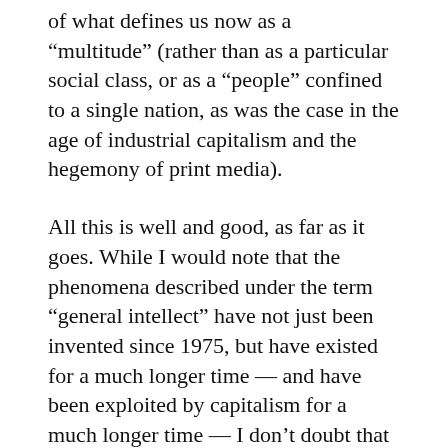of what defines us now as a “multitude” (rather than as a particular social class, or as a “people” confined to a single nation, as was the case in the age of industrial capitalism and the hegemony of print media).
All this is well and good, as far as it goes. While I would note that the phenomena described under the term “general intellect” have not just been invented since 1975, but have existed for a much longer time — and have been exploited by capitalism for a much longer time — I don’t doubt that they have been so expanded in recent years as to constitute (as the dialecticians would put it) “a transformation of quantity into quality.” (See